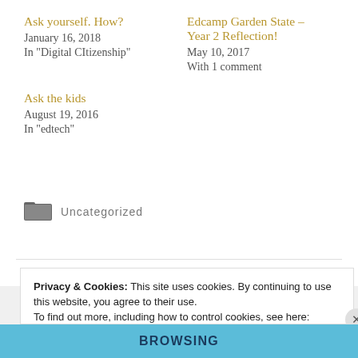Ask yourself. How?
January 16, 2018
In "Digital CItizenship"
Edcamp Garden State – Year 2 Reflection!
May 10, 2017
With 1 comment
Ask the kids
August 19, 2016
In "edtech"
Uncategorized
Privacy & Cookies: This site uses cookies. By continuing to use this website, you agree to their use.
To find out more, including how to control cookies, see here: Cookie Policy
Close and accept